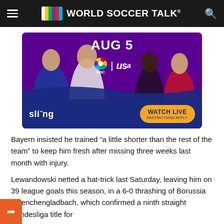World Soccer Talk
[Figure (photo): Advertisement banner for Sling TV showing soccer players (NBC | USA) with text 'AUG 5', 'WATCH LIVE', 'RESTRICTIONS APPLY.' Sling logo at bottom left.]
Bayern insisted he trained “a little shorter than the rest of the team” to keep him fresh after missing three weeks last month with injury.
Lewandowski netted a hat-trick last Saturday, leaving him on 39 league goals this season, in a 6-0 thrashing of Borussia Moenchengladbach, which confirmed a ninth straight Bundesliga title for